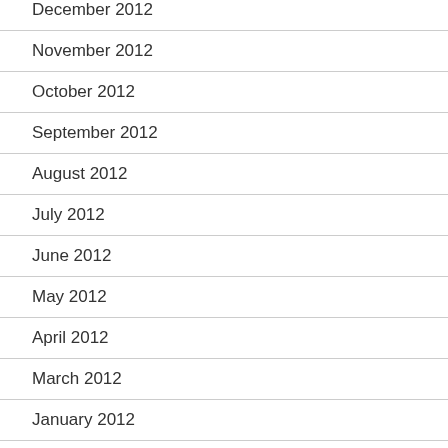December 2012
November 2012
October 2012
September 2012
August 2012
July 2012
June 2012
May 2012
April 2012
March 2012
January 2012
December 2011